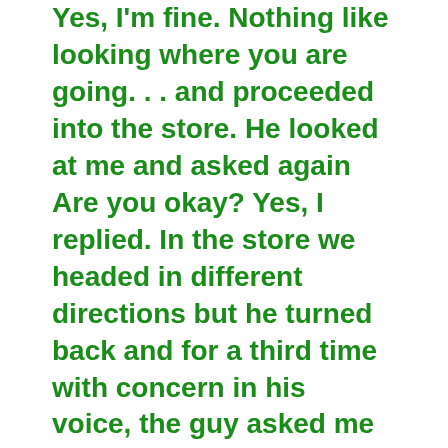Yes, I'm fine.  Nothing like looking where you are going. . . and proceeded into the store. He looked at me and asked again Are you okay?   Yes, I replied.  In the store we headed in different directions but he turned back and for a third time with concern in his voice, the guy asked me if I was okay. Yes, thank you.  From his perspective the fall must have looked